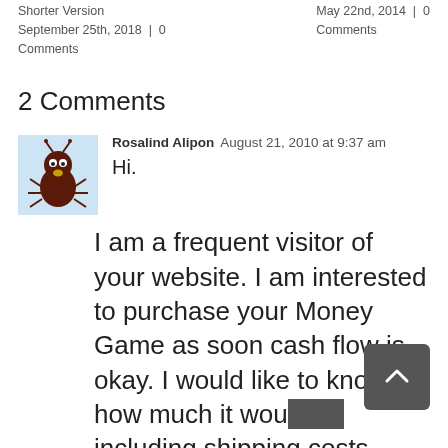Shorter Version
September 25th, 2018  |  0 Comments
May 22nd, 2014  |  0 Comments
2 Comments
[Figure (illustration): Avatar icon of a cartoon bug/ant character on a light blue background]
Rosalind Alipon  August 21, 2010 at 9:37 am

Hi.

I am a frequent visitor of your website. I am interested to purchase your Money Game as soon cash flow is okay. I would like to know how much it would be including shipping costs. Would the...